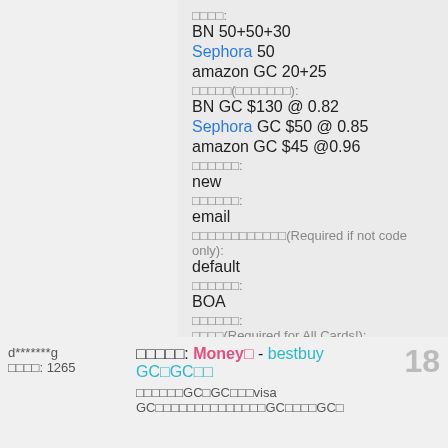□□□□: BN 50+50+30
Sephora 50
amazon GC 20+25
□□□□□(□□□□□□□): BN GC $130 @ 0.82
Sephora GC $50 @ 0.85
amazon GC $45 @0.96
□□□□□□: new
□□□□□□: email
□□□□□□□□□□□□(Required if not code only): default
□□□□□□: BOA
□□□□□□: □□□□(Required for All Cards!): B... □□□□
d*******g □□□□: 1265
□□□□□: Money□ - bestbuy GC□GC□□
□□□□□□GC□GC□□□visa GC□□□□□□□□□□□□□□GC□□□□GC□